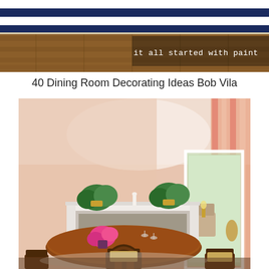[Figure (photo): Top banner photo showing a navy blue and white striped rug on a wood floor, with overlay text 'it all started with paint' in white monospace font on the right side]
40 Dining Room Decorating Ideas Bob Vila
[Figure (photo): Interior photo of an elegant dining room with pink/salmon walls, a white marble fireplace, green potted plants on the mantle, an oval dark wood dining table with chairs, pink striped curtains on the right, and a view through a doorway into another room]